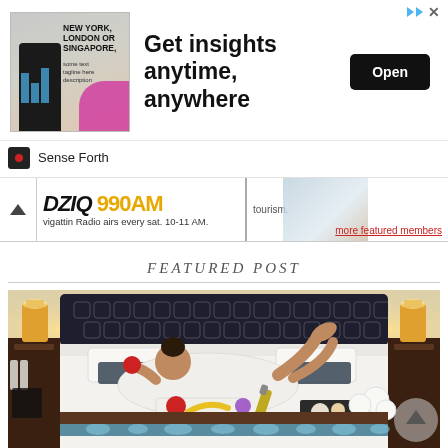[Figure (screenshot): Advertisement banner: Image of a man in suit with text 'NEW YORK, LONDON OR SINGAPORE,' on left, large headline 'Get insights anytime, anywhere' in center, black 'Open' button on right. Skip arrow icon top right. 'Sense Forth' logo below.]
[Figure (screenshot): Radio station banner strip: collapsed/minimized bar with chevron up, 'DZIQ 990AM' logo, text 'vigattin Radio airs every sat. 10-11 AM.' with a small hotel image on the right, text 'tourism.' and 'more featured members' link.]
FEATURED POST
[Figure (photo): Photo of a woman in a white bathrobe lying on a luxurious hotel bed with dark tufted headboard, holding an apple, with a fruit tray, champagne bottle, and white flowers on the bed. Warm-lit room with dark wood side tables and lamps.]